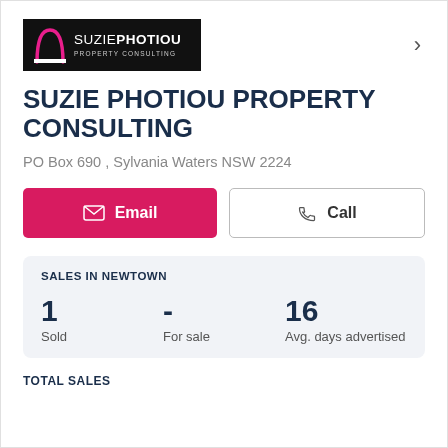[Figure (logo): Suzie Photiou Property Consulting logo – white text on black background with pink arch icon]
SUZIE PHOTIOU PROPERTY CONSULTING
PO Box 690 , Sylvania Waters NSW 2224
Email
Call
SALES IN NEWTOWN
| Sold | For sale | Avg. days advertised |
| --- | --- | --- |
| 1 | - | 16 |
TOTAL SALES